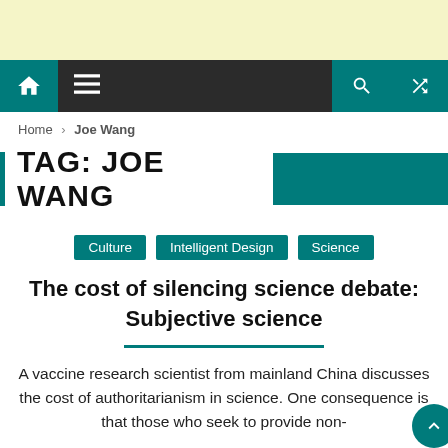TAG: JOE WANG
Home › Joe Wang
Culture
Intelligent Design
Science
The cost of silencing science debate: Subjective science
A vaccine research scientist from mainland China discusses the cost of authoritarianism in science. One consequence is that those who seek to provide non-